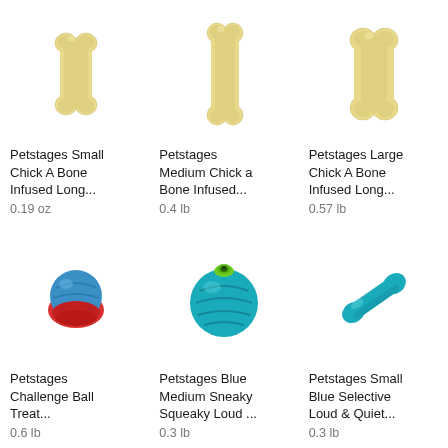[Figure (illustration): Petstages small chick-a-bone dog chew toy in cream/ivory color, bone shape]
Petstages Small Chick A Bone Infused Long...
0.19 oz
[Figure (illustration): Petstages medium chick-a-bone dog chew toy in cream/ivory color, elongated bone shape]
Petstages Medium Chick a Bone Infused...
0.4 lb
[Figure (illustration): Petstages large chick-a-bone dog chew toy in cream/ivory color, bone shape]
Petstages Large Chick A Bone Infused Long...
0.57 lb
[Figure (illustration): Petstages Challenge Ball Treat toy, blue sphere on red base]
Petstages Challenge Ball Treat...
0.6 lb
[Figure (illustration): Petstages Blue Medium Sneaky Squeaky ball toy, teal/cyan ball with green cap hole on top]
Petstages Blue Medium Sneaky Squeaky Loud ...
0.3 lb
[Figure (illustration): Petstages Small Blue Selective Loud & Quiet toy, teal/cyan mini bone shape]
Petstages Small Blue Selective Loud & Quiet...
0.3 lb